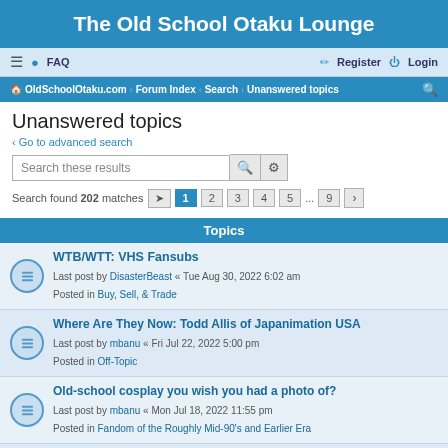The Old School Otaku Lounge
≡  FAQ   Register  Login
OldSchoolOtaku.com · Forum Index · Search · Unanswered topics 🔍
Unanswered topics
< Go to advanced search
Search these results
Search found 202 matches  [page jump] 1 2 3 4 5 ... 9 >
Topics
WTB/WTT: VHS Fansubs
Last post by DisasterBeast « Tue Aug 30, 2022 6:02 am
Posted in Buy, Sell, & Trade
Where Are They Now: Todd Allis of Japanimation USA
Last post by mbanu « Fri Jul 22, 2022 5:00 pm
Posted in Off-Topic
Old-school cosplay you wish you had a photo of?
Last post by mbanu « Mon Jul 18, 2022 11:55 pm
Posted in Fandom of the Roughly Mid-90's and Earlier Era
Where Are They Now: Ed Godziszewski